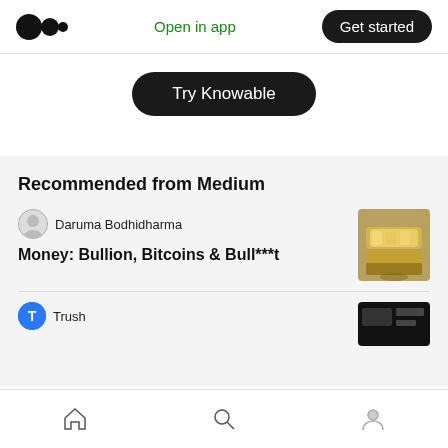Medium logo | Open in app | Get started
Try Knowable
Recommended from Medium
Daruma Bodhidharma
Money: Bullion, Bitcoins & Bull***t
[Figure (photo): Gold bullion bars thumbnail]
Trush
[Figure (photo): Dark thumbnail partially visible]
Home | Search | Profile navigation icons